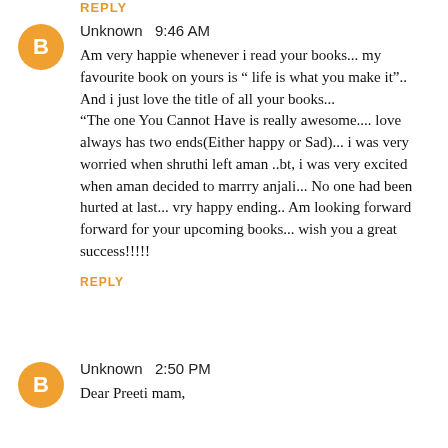REPLY
Unknown  9:46 AM
Am very happie whenever i read your books... my favourite book on yours is " life is what you make it"..
And i just love the title of all your books...
"The one You Cannot Have is really awesome.... love always has two ends(Either happy or Sad)... i was very worried when shruthi left aman ..bt, i was very excited when aman decided to marrry anjali... No one had been hurted at last... vry happy ending.. Am looking forward forward for your upcoming books... wish you a great success!!!!!
REPLY
Unknown  2:50 PM
Dear Preeti mam,